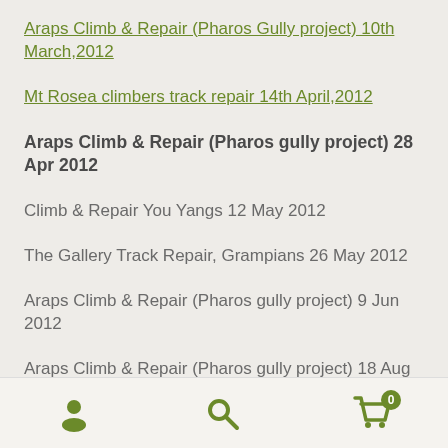Araps Climb & Repair (Pharos Gully project) 10th March,2012
Mt Rosea climbers track repair 14th April,2012
Araps Climb & Repair (Pharos gully project) 28 Apr 2012
Climb & Repair You Yangs 12 May 2012
The Gallery Track Repair, Grampians 26 May 2012
Araps Climb & Repair (Pharos gully project) 9 Jun 2012
Araps Climb & Repair (Pharos gully project) 18 Aug 2012